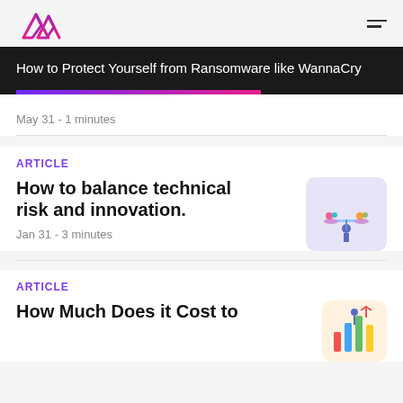[Figure (logo): Pink and purple mountain/arrow logo icon with hamburger menu icon on right]
How to Protect Yourself from Ransomware like WannaCry
May 31 - 1 minutes
ARTICLE
How to balance technical risk and innovation.
[Figure (illustration): Person balancing gears/coins on scales, light purple background]
Jan 31 - 3 minutes
ARTICLE
How Much Does it Cost to
[Figure (illustration): People with charts and graphs illustration, colorful]